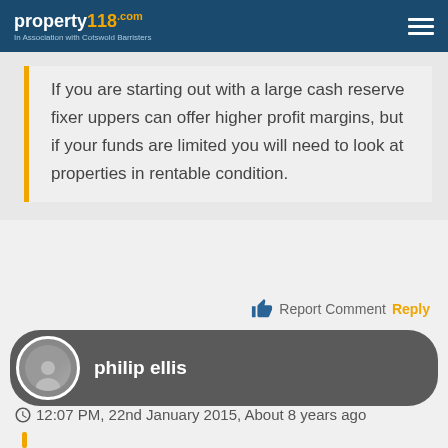property118.com — In Association with Cotswold Barristers
If you are starting out with a large cash reserve fixer uppers can offer higher profit margins, but if your funds are limited you will need to look at properties in rentable condition.
Report Comment Reply
philip ellis
12:07 PM, 22nd January 2015, About 8 years ago